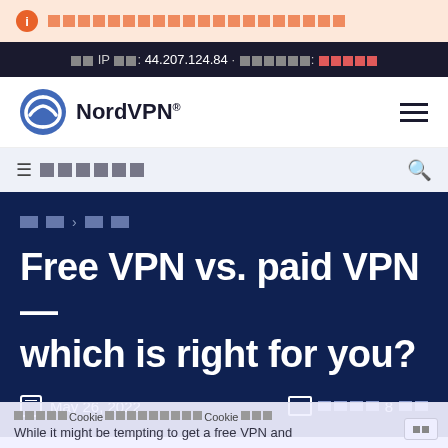[Notification bar with info icon and pattern text]
Your IP address: 44.207.124.84 · Location: [REDACTED]
[Figure (logo): NordVPN logo with blue arch icon and text NordVPN]
Navigation bar with hamburger menu and search icon
[breadcrumb] > [breadcrumb]
Free VPN vs. paid VPN — which is right for you?
May 26, 2022  |  [read time] 8 [min]
While it might be tempting to get a free VPN and
[Cookie consent bar] Cookie [pattern] Cookie [pattern]